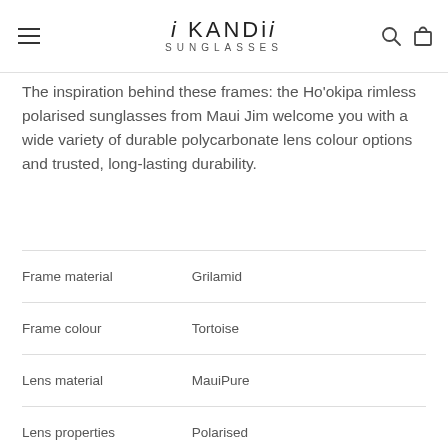i KANDi SUNGLASSES
The inspiration behind these frames: the Ho'okipa rimless polarised sunglasses from Maui Jim welcome you with a wide variety of durable polycarbonate lens colour options and trusted, long-lasting durability.
|  |  |
| --- | --- |
| Frame material | Grilamid |
| Frame colour | Tortoise |
| Lens material | MauiPure |
| Lens properties | Polarised |